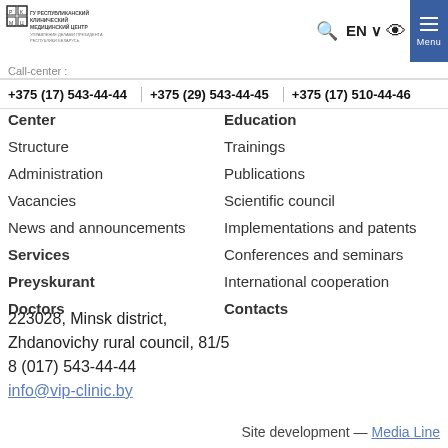[Figure (logo): Republican Clinical Medical Center logo with grid icon and Cyrillic text]
Call-center :
+375 (17) 543-44-44   +375 (29) 543-44-45   +375 (17) 510-44-46
Center
Structure
Administration
Vacancies
News and announcements
Services
Preyskurant
Doctors
Education
Trainings
Publications
Scientific council
Implementations and patents
Conferences and seminars
International cooperation
Contacts
223028, Minsk district,
Zhdanovichy rural council, 81/5
8 (017) 543-44-44
info@vip-clinic.by
Site development — Media Line